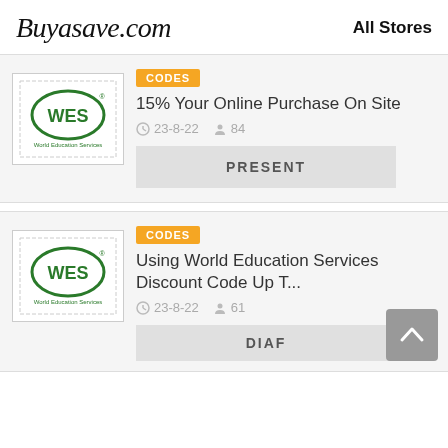Buyasave.com   All Stores
[Figure (logo): WES World Education Services logo - green oval with WES text]
CODES
15% Your Online Purchase On Site
23-8-22   84
PRESENT
[Figure (logo): WES World Education Services logo - green oval with WES text]
CODES
Using World Education Services Discount Code Up T...
23-8-22   61
DIAF